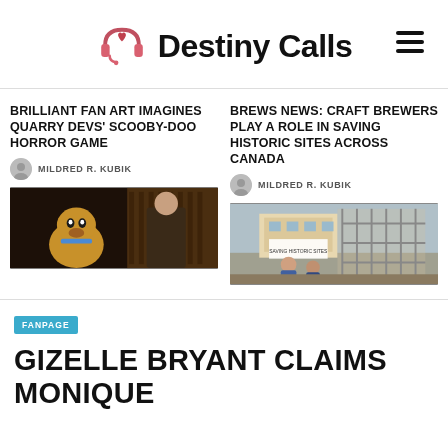Destiny Calls
BRILLIANT FAN ART IMAGINES QUARRY DEVS' SCOOBY-DOO HORROR GAME
MILDRED R. KUBIK
[Figure (photo): Screenshot from Scooby-Doo themed horror game showing Scooby-Doo character and a person in a dark room]
BREWS NEWS: CRAFT BREWERS PLAY A ROLE IN SAVING HISTORIC SITES ACROSS CANADA
MILDRED R. KUBIK
[Figure (photo): Two men standing in front of a construction site with scaffolding and a sign]
FANPAGE
GIZELLE BRYANT CLAIMS MONIQUE